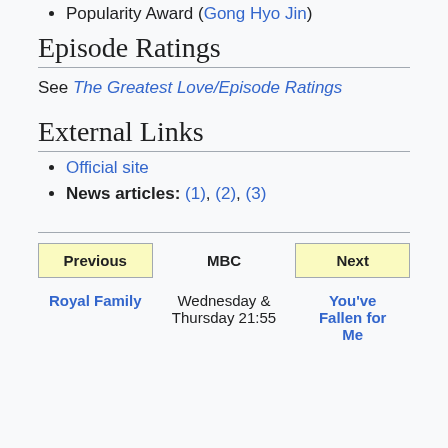Popularity Award (Gong Hyo Jin)
Episode Ratings
See The Greatest Love/Episode Ratings
External Links
Official site
News articles: (1), (2), (3)
| Previous | MBC | Next |
| --- | --- | --- |
| Royal Family | Wednesday & Thursday 21:55 | You've Fallen for Me |